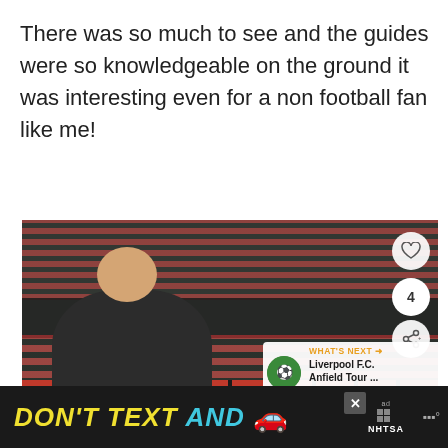There was so much to see and the guides were so knowledgeable on the ground it was interesting even for a non football fan like me!
[Figure (photo): A young person with glasses sitting in red stadium seats at what appears to be Old Trafford football ground, with rows of empty red seats visible in the background. Chevrolet sponsor logos visible on seat backs. Social sharing UI elements visible on the right side including heart/like button, share count of 4, and a 'What's Next' panel showing Liverpool F.C. Anfield Tour.]
[Figure (infographic): Advertisement banner with black background reading 'DON'T TEXT AND' followed by a red car emoji, with NHTSA ad label and close button.]